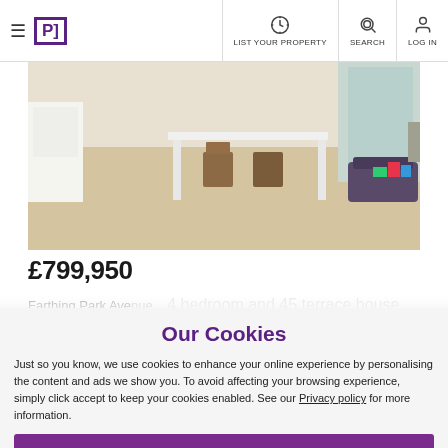PrimeLocation navigation: LIST YOUR PROPERTY | SEARCH | LOG IN
[Figure (photo): Interior photo of a modern living/dining area with light wood flooring, white dining table, wooden chairs, and a dark leather sofa in the background.]
£799,950
Farthing Park Avenue... 4 bedroom and 45 terrace house...
Our Cookies
Just so you know, we use cookies to enhance your online experience by personalising the content and ads we show you. To avoid affecting your browsing experience, simply click accept to keep your cookies enabled. See our Privacy policy for more information.
Accept cookies
Manage my settings